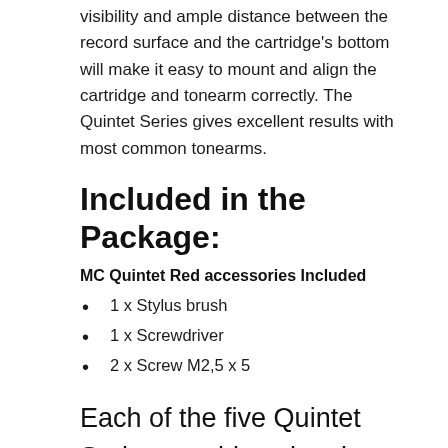visibility and ample distance between the record surface and the cartridge's bottom will make it easy to mount and align the cartridge and tonearm correctly. The Quintet Series gives excellent results with most common tonearms.
Included in the Package:
MC Quintet Red accessories Included
1 x Stylus brush
1 x Screwdriver
2 x Screw M2,5 x 5
Each of the five Quintet Series cartridges has its own individual sonic expression, and all five